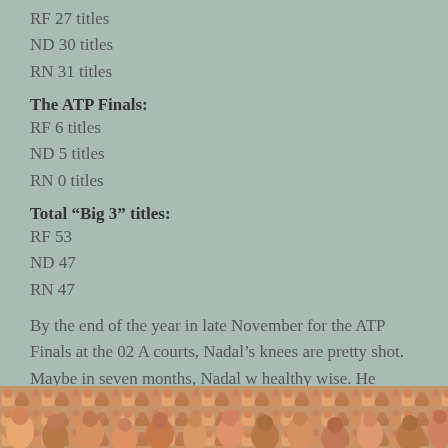RF 27 titles
ND 30 titles
RN 31 titles
The ATP Finals:
RF 6 titles
ND 5 titles
RN 0 titles
Total “Big 3” titles:
RF 53
ND 47
RN 47
By the end of the year in late November for the ATP Finals at the 02 A courts, Nadal’s knees are pretty shot. Maybe in seven months, Nadal w healthy wise. He hopes.
Nadal, Djokovic: back on track in Monte Ca
By Matthew Cronin :: Posted  April 19, 2018
[Figure (photo): Crowd of spectators at a tennis event, partially visible at bottom of page]